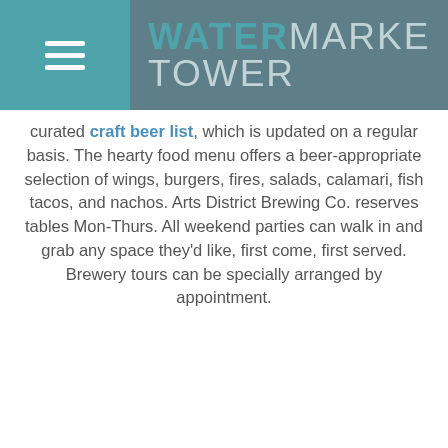WATERMARKE TOWER
curated craft beer list, which is updated on a regular basis. The hearty food menu offers a beer-appropriate selection of wings, burgers, fires, salads, calamari, fish tacos, and nachos. Arts District Brewing Co. reserves tables Mon-Thurs. All weekend parties can walk in and grab any space they'd like, first come, first served. Brewery tours can be specially arranged by appointment.
[Figure (photo): Chalkboard beer menu showing multiple craft beers including Black Coffee Mamba, Bleacher Beer, Hunky Dory IPA, and Black Mamba]
[Figure (screenshot): Dark teal overlay panel with two call-to-action buttons: Schedule a Tour (calendar icon) and Score $500! (dollar sign icon)]